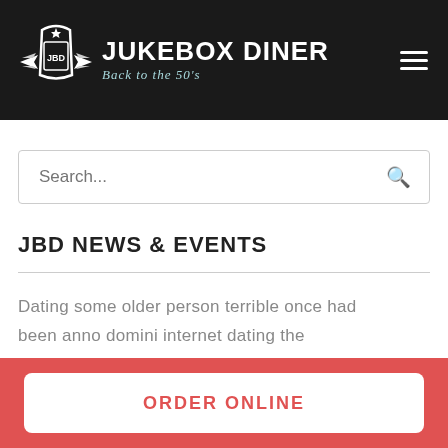[Figure (logo): Jukebox Diner logo with wings emblem and text 'Jukebox Diner - Back to the 50's' on black header bar]
Search...
JBD NEWS & EVENTS
Dating some older person terrible once had been anno domini internet dating the
ORDER ONLINE